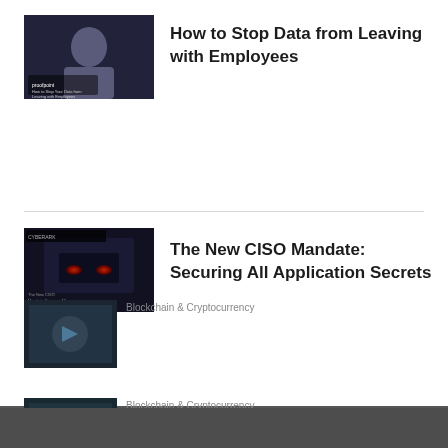[Figure (photo): Thumbnail image for Proofpoint article 'How to Stop Your Data from Leaving with Employees' showing a person in dark tones]
How to Stop Data from Leaving with Employees
[Figure (photo): Thumbnail image for 'The New CISO Mandate: Securing All Application Secrets' showing a dark tech/server scene with red glowing elements]
The New CISO Mandate: Securing All Application Secrets
LATEST
[Figure (photo): Thumbnail for Ethereum news article]
Blockchain & Cryptocurrency
Ethereum Offers Up To $1M Bounty for Critical Bug Reports
[Figure (photo): Thumbnail for Coinbase news article]
Blockchain & Cryptocurrency
Coinbase Faces Class Action Over Alleged Securities...
Our website uses cookies. Cookies enable us to provide the best experience possible and help us understand how visitors use our website. By browsing careersinfosecurity.com, you agree to our use of cookies.